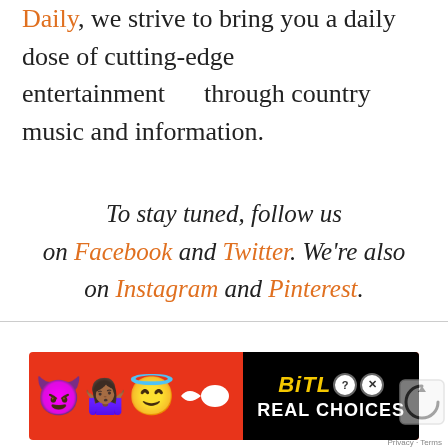Daily, we strive to bring you a daily dose of cutting-edge entertainment through country music and information.
To stay tuned, follow us on Facebook and Twitter. We're also on Instagram and Pinterest.
[Figure (illustration): BitLife advertisement banner with emojis (devil, person with raised hands, angel) and text 'BITLIFE REAL CHOICES' on black background with red dotted pattern]